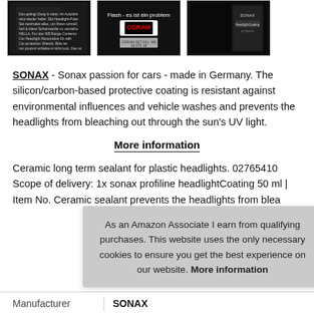[Figure (photo): Three product images shown in a horizontal strip: a dark product label, an OSRAM-branded black package, and a dark box/package with label]
SONAX - Sonax passion for cars - made in Germany. The silicon/carbon-based protective coating is resistant against environmental influences and vehicle washes and prevents the headlights from bleaching out through the sun's UV light.
More information
Ceramic long term sealant for plastic headlights. 02765410 Scope of delivery: 1x sonax profiline headlightCoating 50 ml | Item No. Ceramic sealant prevents the headlights from blea
As an Amazon Associate I earn from qualifying purchases. This website uses the only necessary cookies to ensure you get the best experience on our website. More information
|  |  |
| --- | --- |
| Manufacturer | SONAX |